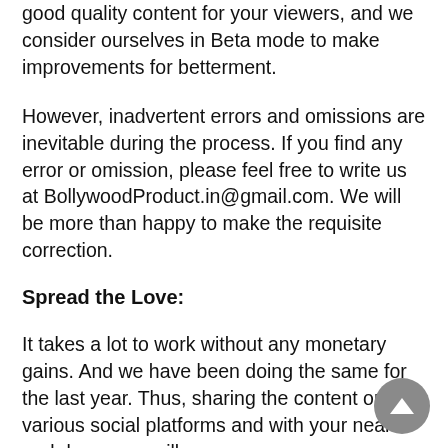good quality content for your viewers, and we consider ourselves in Beta mode to make improvements for betterment.
However, inadvertent errors and omissions are inevitable during the process. If you find any error or omission, please feel free to write us at BollywoodProduct.in@gmail.com. We will be more than happy to make the requisite correction.
Spread the Love:
It takes a lot to work without any monetary gains. And we have been doing the same for the last year. Thus, sharing the content on various social platforms and with your near and dear ones will